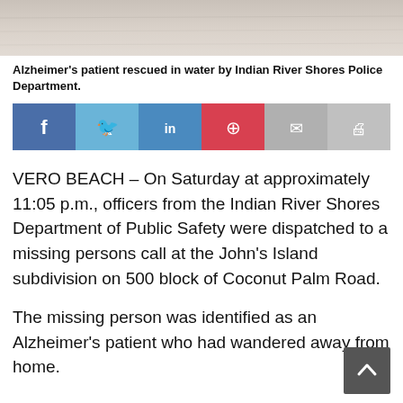[Figure (photo): Partial photo at top of page, appears to show a water scene, cropped]
Alzheimer's patient rescued in water by Indian River Shores Police Department.
[Figure (infographic): Social media sharing bar with Facebook, Twitter, LinkedIn, Pinterest, Email, and Print buttons]
VERO BEACH – On Saturday at approximately 11:05 p.m., officers from the Indian River Shores Department of Public Safety were dispatched to a missing persons call at the John's Island subdivision on 500 block of Coconut Palm Road.
The missing person was identified as an Alzheimer's patient who had wandered away from home.